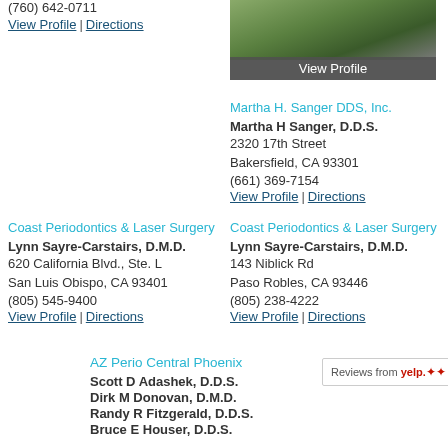(760) 642-0711
View Profile | Directions
[Figure (photo): Outdoor photo of a building with vegetation, with a 'View Profile' overlay bar at the bottom]
Martha H. Sanger DDS, Inc.
Martha H Sanger, D.D.S.
2320 17th Street
Bakersfield, CA 93301
(661) 369-7154
View Profile | Directions
Coast Periodontics & Laser Surgery
Lynn Sayre-Carstairs, D.M.D.
620 California Blvd., Ste. L
San Luis Obispo, CA 93401
(805) 545-9400
View Profile | Directions
Coast Periodontics & Laser Surgery
Lynn Sayre-Carstairs, D.M.D.
143 Niblick Rd
Paso Robles, CA 93446
(805) 238-4222
View Profile | Directions
AZ Perio Central Phoenix
Scott D Adashek, D.D.S.
Dirk M Donovan, D.M.D.
Randy R Fitzgerald, D.D.S.
Bruce E Houser, D.D.S.
[Figure (logo): Yelp reviews badge: 'Reviews from yelp.' with Yelp logo]